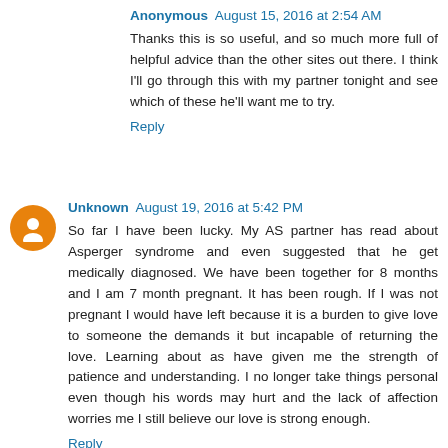Anonymous  August 15, 2016 at 2:54 AM
Thanks this is so useful, and so much more full of helpful advice than the other sites out there. I think I'll go through this with my partner tonight and see which of these he'll want me to try.
Reply
Unknown  August 19, 2016 at 5:42 PM
So far I have been lucky. My AS partner has read about Asperger syndrome and even suggested that he get medically diagnosed. We have been together for 8 months and I am 7 month pregnant. It has been rough. If I was not pregnant I would have left because it is a burden to give love to someone the demands it but incapable of returning the love. Learning about as have given me the strength of patience and understanding. I no longer take things personal even though his words may hurt and the lack of affection worries me I still believe our love is strong enough.
Reply